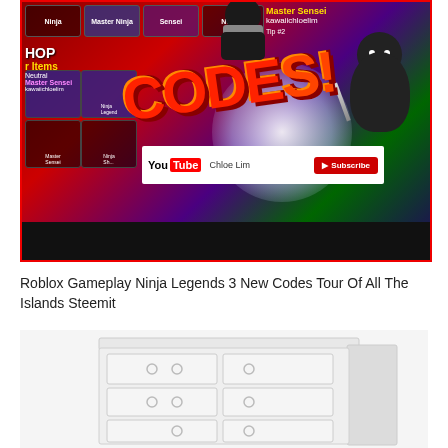[Figure (screenshot): Roblox Ninja Legends gameplay screenshot showing CODES! text, ninja characters, YouTube Chloe Lim subscribe button, and various game UI elements]
Roblox Gameplay Ninja Legends 3 New Codes Tour Of All The Islands Steemit
[Figure (photo): White dresser/chest of drawers with circular knob handles on multiple drawers]